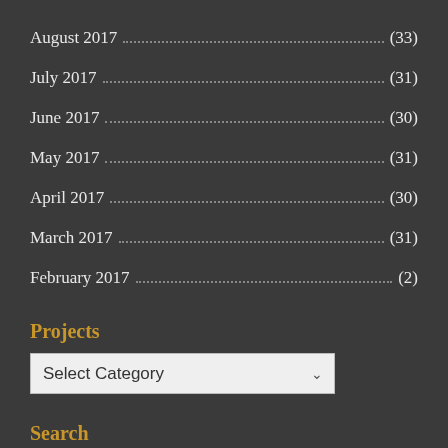August 2017 (33)
July 2017 (31)
June 2017 (30)
May 2017 (31)
April 2017 (30)
March 2017 (31)
February 2017 (2)
Projects
Select Category
Search
Search ...